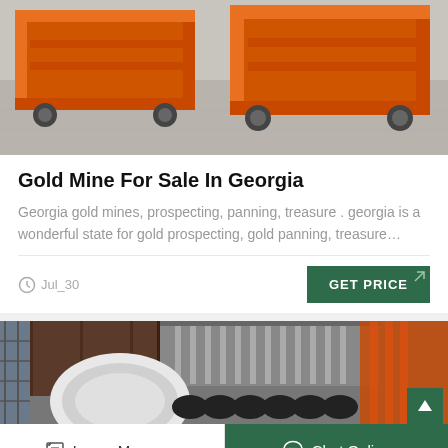[Figure (photo): Orange industrial mining/construction equipment frames on a gray concrete floor]
Gold Mine For Sale In Georgia
Georgia gold mines, prospecting, panning, treasure . georgia is a wonderful state for gold prospecting, gold panning, treasure…
Jul_30
GET PRICE
[Figure (photo): Industrial machinery with large circular drum/sieve and black tires/wheels in a warehouse or factory setting]
Leave Message
Chat Online